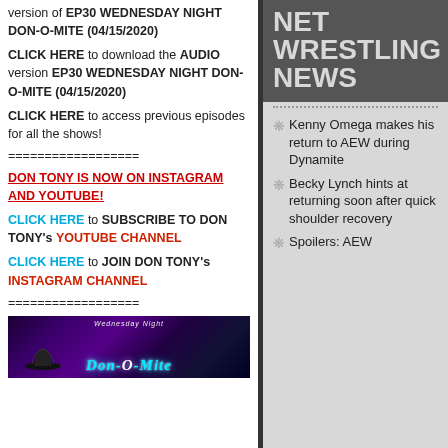version of EP30 WEDNESDAY NIGHT DON-O-MITE (04/15/2020)
CLICK HERE to download the AUDIO version EP30 WEDNESDAY NIGHT DON-O-MITE (04/15/2020)
CLICK HERE to access previous episodes for all the shows!
==================
DON TONY IS NOW ON INSTAGRAM AND YOUTUBE!
CLICK HERE to SUBSCRIBE TO DON TONY's YOUTUBE CHANNEL
CLICK HERE to JOIN DON TONY's INSTAGRAM CHANNEL
==================
[Figure (photo): Thumbnail image for Wednesday Night Don-O-Mite episode]
NET WRESTLING NEWS
Kenny Omega makes his return to AEW during Dynamite
Becky Lynch hints at returning soon after quick shoulder recovery
Spoilers: AEW